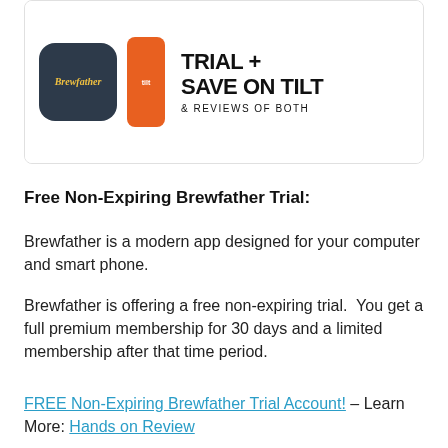[Figure (illustration): Promotional card with a dark navy Brewfather app icon on the left, an orange Tilt device in the center, and bold text reading 'TRIAL + SAVE ON TILT & REVIEWS OF BOTH' on the right, inside a white rounded card with gray border.]
Free Non-Expiring Brewfather Trial:
Brewfather is a modern app designed for your computer and smart phone.
Brewfather is offering a free non-expiring trial.  You get a full premium membership for 30 days and a limited membership after that time period.
FREE Non-Expiring Brewfather Trial Account! – Learn More: Hands on Review